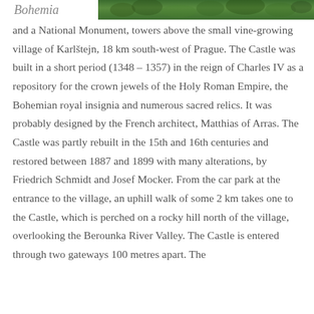[Figure (photo): Partial view of lush green trees/forest, top portion of image visible as a cropped strip at the top of the page. Left side shows partial italic text 'Bohemia' in gray.]
and a National Monument, towers above the small vine-growing village of Karlštejn, 18 km south-west of Prague. The Castle was built in a short period (1348 – 1357) in the reign of Charles IV as a repository for the crown jewels of the Holy Roman Empire, the Bohemian royal insignia and numerous sacred relics. It was probably designed by the French architect, Matthias of Arras. The Castle was partly rebuilt in the 15th and 16th centuries and restored between 1887 and 1899 with many alterations, by Friedrich Schmidt and Josef Mocker. From the car park at the entrance to the village, an uphill walk of some 2 km takes one to the Castle, which is perched on a rocky hill north of the village, overlooking the Berounka River Valley. The Castle is entered through two gateways 100 metres apart. The